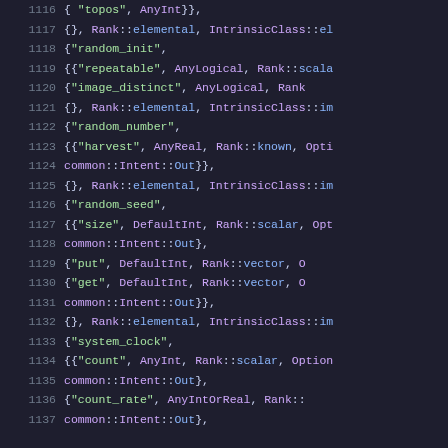Source code listing lines 1116-1137, showing C++ intrinsic definitions for random_init, random_number, random_seed, and system_clock functions with parameter specifications.